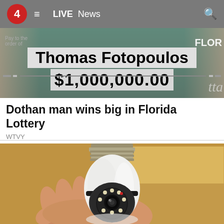4  ≡  LIVE  News
[Figure (photo): Lottery winner Thomas Fotopoulos holding a large check for $1,000,000.00 with Florida Lottery branding]
Dothan man wins big in Florida Lottery
WTVY
[Figure (photo): A hand holding a white light bulb security camera with LED ring and camera lens, against a cardboard box background]